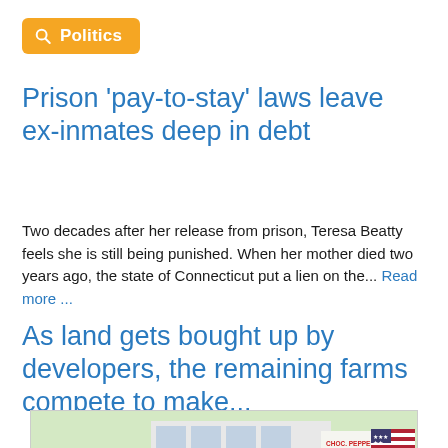Politics
Prison 'pay-to-stay' laws leave ex-inmates deep in debt
Two decades after her release from prison, Teresa Beatty feels she is still being punished. When her mother died two years ago, the state of Connecticut put a lien on the... Read more ...
As land gets bought up by developers, the remaining farms compete to make...
[Figure (photo): People at what appears to be a farm stand or ice cream shop with an ATM visible and an American flag in background, with a menu board listing flavors including Mocha Chip, Oreo, Pistachio, Strawberry, Purple Cow, Sugar Free, BF Vanilla, BF Coffee.]